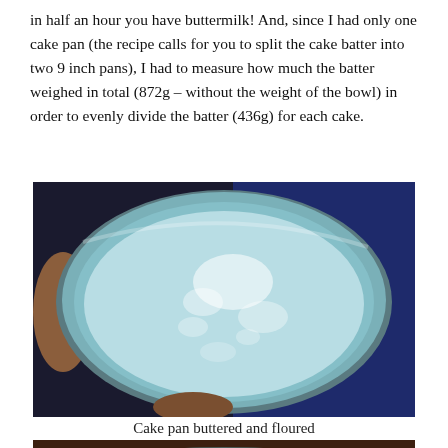in half an hour you have buttermilk! And, since I had only one cake pan (the recipe calls for you to split the cake batter into two 9 inch pans), I had to measure how much the batter weighed in total (872g – without the weight of the bowl) in order to evenly divide the batter (436g) for each cake.
[Figure (photo): A round cake pan viewed from above, greased and floured (pale blue/white interior with traces of flour), being held by hands against a dark blue background.]
Cake pan buttered and floured
[Figure (photo): Bottom portion of another food preparation photo, partially visible.]